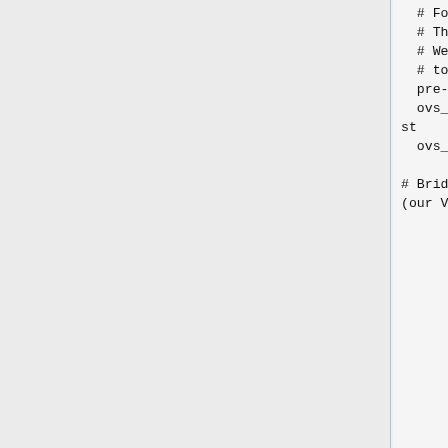# Force the MTU of the physical interfaces to be jumbo-frame capable.
    # This doesn't mean that any OVSIntPorts must be jumbo-capable.
    # We cannot, however set up definitions for eth0 and eth1 directly due
    # to what appear to be bugs in the initialization process.
    pre-up ( ifconfig eth0 mtu 9000 && ifconfig eth1 mtu 9000 )
    ovs_options bond_mode=balance-tcp lacp=active other_config:lacp-time=fast
    ovs_mtu 9000

# Bridge for our bond and vlan virtual interfaces
(our VMs will